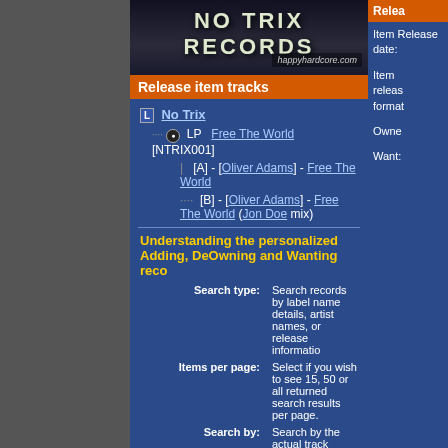[Figure (illustration): No Trix Records banner with happyhardcore.com watermark]
Release item tracks
No Trix
LP  Free The World [NTRIX001]
[A] - [Oliver Adams] - Free The World
[B] - [Oliver Adams] - Free The World (Jon Doe mix)
Item Release date:
Item release format:
Owner:
Want:
Understanding the personalized Adding, DeOwning and Wanting reco
Search type: Search records by label name details, artist names, or release information
Items per page: Select if you wish to see 15, 50 or all returned search results per page.
Search by: Search by the actual track name (e.g. "Shooting star"), or search by the re Note most vinyl releases and singles do not carry a release name, thus th track 1) will be the name.
Search starting with: Once you click a button you have started the filtering search, you will lis letter you click. Note the letter "#" indicates anything that does not start (e.g. 1st contact).
Disclaimer: All information provided is accurate to the best of the infor mistake in the listings please contact HappyHardcore.com to correct the HappyHardcore.com record database is not a 100% complete list of ever